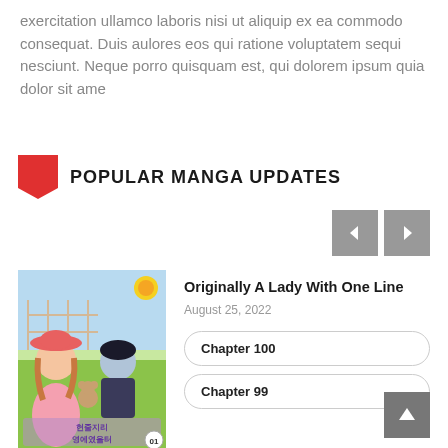exercitation ullamco laboris nisi ut aliquip ex ea commodo consequat. Duis aulores eos qui ratione voluptatem sequi nesciunt. Neque porro quisquam est, qui dolorem ipsum quia dolor sit ame
POPULAR MANGA UPDATES
[Figure (other): Manga cover image for 'Originally A Lady With One Line' showing anime-style characters with Korean text]
Originally A Lady With One Line
August 25, 2022
Chapter 100
Chapter 99